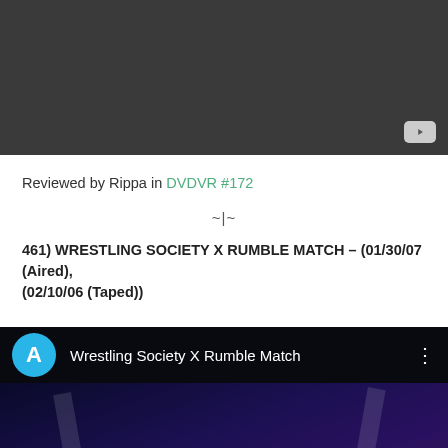[Figure (screenshot): Dark video player thumbnail with YouTube icon in bottom-right corner]
Reviewed by Rippa in DVDVR #172
~|~
461) WRESTLING SOCIETY X RUMBLE MATCH – (01/30/07 (Aired), (02/10/06 (Taped))
[Figure (screenshot): YouTube video embed for 'Wrestling Society X Rumble Match' showing avatar 'A', video title, three-dot menu, and a dark wrestling arena scene]